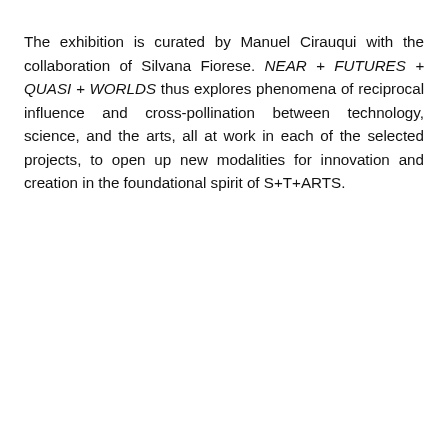The exhibition is curated by Manuel Cirauqui with the collaboration of Silvana Fiorese. NEAR + FUTURES + QUASI + WORLDS thus explores phenomena of reciprocal influence and cross-pollination between technology, science, and the arts, all at work in each of the selected projects, to open up new modalities for innovation and creation in the foundational spirit of S+T+ARTS.